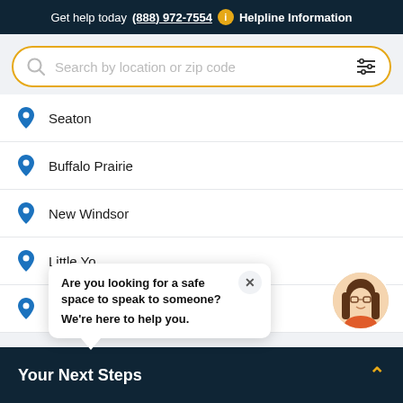Get help today (888) 972-7554 i Helpline Information
[Figure (screenshot): Search bar with golden border, placeholder text 'Search by location or zip code', magnifying glass icon on left, filter sliders icon on right]
Seaton
Buffalo Prairie
New Windsor
Little Yo[rk]
Keithsburg
Are you looking for a safe space to speak to someone? We're here to help you.
Your Next Steps